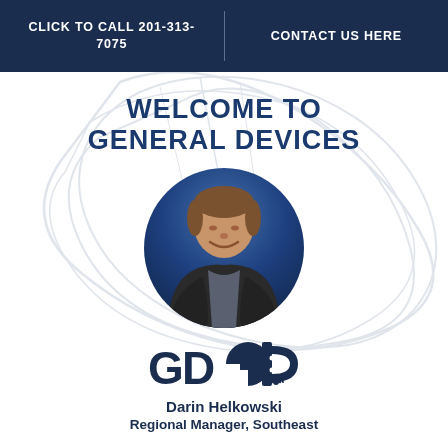CLICK TO CALL 201-313-7075 | CONTACT US HERE
WELCOME TO GENERAL DEVICES
[Figure (photo): Circular profile photo of Darin Helkowski against a dark blue gradient background]
[Figure (logo): General Devices GD logo in dark navy blue]
Darin Helkowski
Regional Manager, Southeast